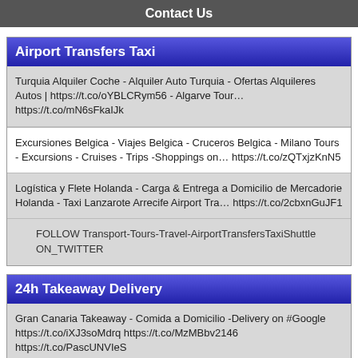Contact Us
Airport Transfers Taxi
Turquia Alquiler Coche - Alquiler Auto Turquia - Ofertas Alquileres Autos | https://t.co/oYBLCRym56 - Algarve Tour… https://t.co/mN6sFkaIJk
Excursiones Belgica - Viajes Belgica - Cruceros Belgica - Milano Tours - Excursions - Cruises - Trips -Shoppings on… https://t.co/zQTxjzKnN5
Logística y Flete Holanda - Carga & Entrega a Domicilio de Mercadorie Holanda - Taxi Lanzarote Arrecife Airport Tra… https://t.co/2cbxnGuJF1
FOLLOW Transport-Tours-Travel-AirportTransfersTaxiShuttle ON_TWITTER
24h Takeaway Delivery
Gran Canaria Takeaway - Comida a Domicilio -Delivery on #Google https://t.co/iXJ3soMdrq https://t.co/MzMBbv2146 https://t.co/PascUNVIeS